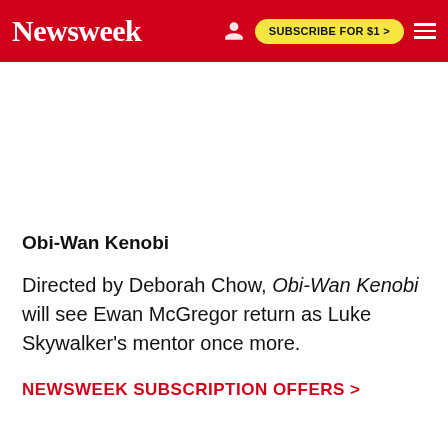Newsweek | SUBSCRIBE FOR $1 >
Obi-Wan Kenobi
Directed by Deborah Chow, Obi-Wan Kenobi will see Ewan McGregor return as Luke Skywalker's mentor once more.
NEWSWEEK SUBSCRIPTION OFFERS >